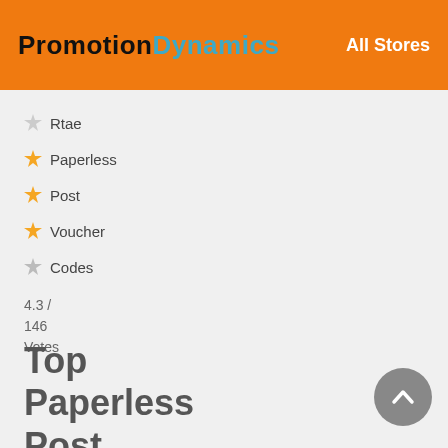PromotionDynamics — All Stores
Rtae
Paperless
Post
Voucher
Codes
4.3 / 146 Votes
Top Paperless Post Offers